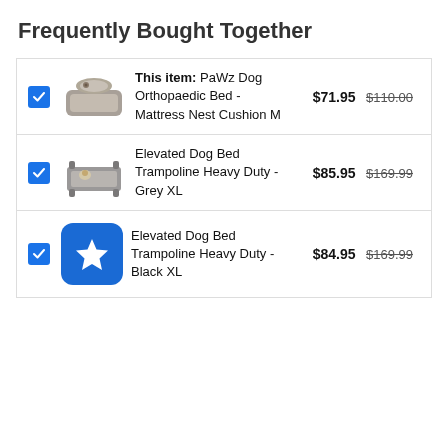Frequently Bought Together
|  | Product | Price | Original Price |
| --- | --- | --- | --- |
| ✓ | This item: PaWz Dog Orthopaedic Bed - Mattress Nest Cushion M | $71.95 | $110.00 |
| ✓ | Elevated Dog Bed Trampoline Heavy Duty - Grey XL | $85.95 | $169.99 |
| ✓ | Elevated Dog Bed Trampoline Heavy Duty - Black XL | $84.95 | $169.99 |